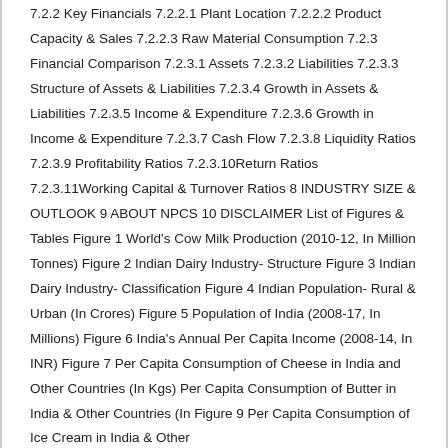7.2.2 Key Financials 7.2.2.1 Plant Location 7.2.2.2 Product Capacity & Sales 7.2.2.3 Raw Material Consumption 7.2.3 Financial Comparison 7.2.3.1 Assets 7.2.3.2 Liabilities 7.2.3.3 Structure of Assets & Liabilities 7.2.3.4 Growth in Assets & Liabilities 7.2.3.5 Income & Expenditure 7.2.3.6 Growth in Income & Expenditure 7.2.3.7 Cash Flow 7.2.3.8 Liquidity Ratios 7.2.3.9 Profitability Ratios 7.2.3.10Return Ratios 7.2.3.11Working Capital & Turnover Ratios 8 INDUSTRY SIZE & OUTLOOK 9 ABOUT NPCS 10 DISCLAIMER List of Figures & Tables Figure 1 World's Cow Milk Production (2010-12, In Million Tonnes) Figure 2 Indian Dairy Industry- Structure Figure 3 Indian Dairy Industry- Classification Figure 4 Indian Population- Rural & Urban (In Crores) Figure 5 Population of India (2008-17, In Millions) Figure 6 India's Annual Per Capita Income (2008-14, In INR) Figure 7 Per Capita Consumption of Cheese in India and Other Countries (In Kgs) Per Capita Consumption of Butter in India & Other Countries (In... Figure 9 Per Capita Consumption of Ice Cream in India & Other...